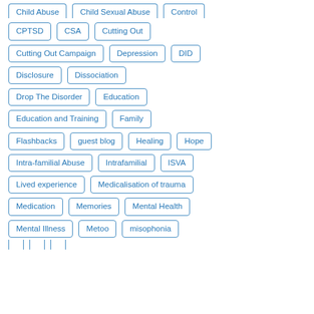Child Abuse
Child Sexual Abuse
Control
CPTSD
CSA
Cutting Out
Cutting Out Campaign
Depression
DID
Disclosure
Dissociation
Drop The Disorder
Education
Education and Training
Family
Flashbacks
guest blog
Healing
Hope
Intra-familial Abuse
Intrafamilial
ISVA
Lived experience
Medicalisation of trauma
Medication
Memories
Mental Health
Mental Illness
Metoo
misophonia